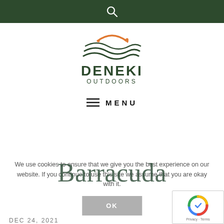[Figure (logo): Deneki Outdoors logo with stylized waves and fish icon in green and orange, with text DENEKI OUTDOORS below]
≡ MENU
Barracuda
We use cookies to ensure that we give you the best experience on our website. If you continue to use this site we assume that you are okay with it.
OK
DEC 24, 2021